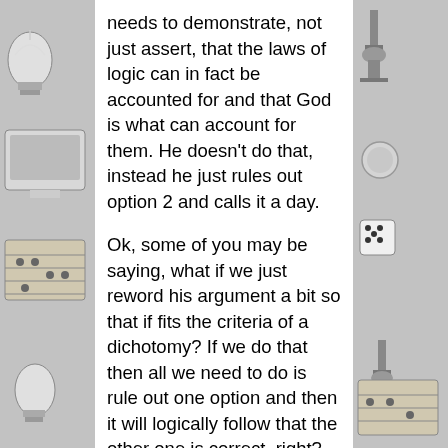needs to demonstrate, not just assert, that the laws of logic can in fact be accounted for and that God is what can account for them. He doesn't do that, instead he just rules out option 2 and calls it a day.

Ok, some of you may be saying, what if we just reword his argument a bit so that if fits the criteria of a dichotomy? If we do that then all we need to do is rule out one option and then it will logically follow that the other one is correct, right? Well, sort of, maybe. Let's start by rewording the argument.